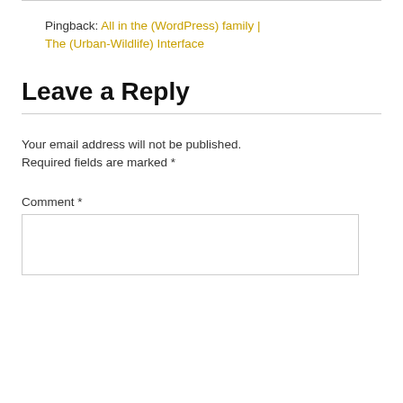Pingback: All in the (WordPress) family | The (Urban-Wildlife) Interface
Leave a Reply
Your email address will not be published. Required fields are marked *
Comment *